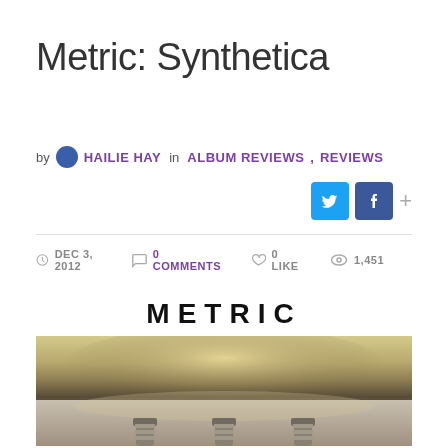Metric: Synthetica
by HAILIE HAY in ALBUM REVIEWS, REVIEWS
DEC 3, 2012   0 COMMENTS   0 LIKE   1,451
[Figure (photo): Metric band logo and Synthetica album art photo showing metallic surface with bolt-like objects in foreground]